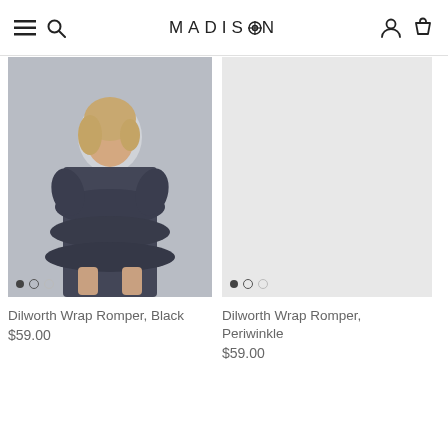MADISON
[Figure (photo): Model wearing a black Dilworth Wrap Romper with ruffle trim and flutter sleeves, dark navy color, against a light background.]
Dilworth Wrap Romper, Black
$59.00
[Figure (photo): Product image placeholder - light gray background with no product shown. Periwinkle romper image not loaded.]
Dilworth Wrap Romper, Periwinkle
$59.00